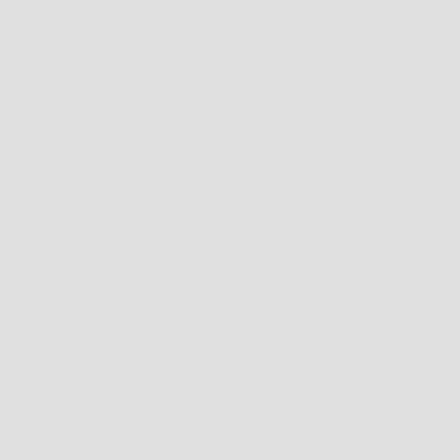5. Distributed Replicated
Code content showing configuration with comments
[Figure (infographic): Diagram showing Mount Point connected via arrow to a server/brick configuration with dark background]